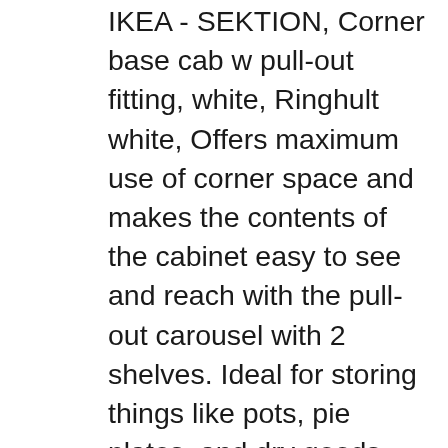IKEA - SEKTION, Corner base cab w pull-out fitting, white, Ringhult white, Offers maximum use of corner space and makes the contents of the cabinet easy to see and reach with the pull-out carousel with 2 shelves. Ideal for storing things like pots, pie plates, and dry goods., Sturdy frame construction, 18 mm thick. MAXIMERA drawer is a smooth-running, full-extension drawer with built-in dampers so that it closes slowly, softly and quietly. You can customise spacing as you need, because the shelves are adjustable. Snap-on hinges can be mounted on the door without screws, and you can easily remove the door for cleaning..